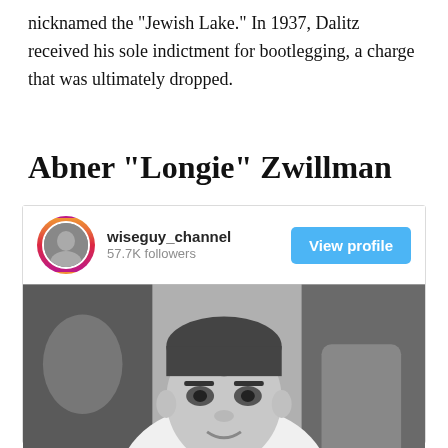nicknamed the “Jewish Lake.” In 1937, Dalitz received his sole indictment for bootlegging, a charge that was ultimately dropped.
Abner “Longie” Zwillman
[Figure (screenshot): Instagram profile card for wiseguy_channel with 57.7K followers, showing a View profile button, and a black-and-white photograph of Abner 'Longie' Zwillman in a white tuxedo jacket and bow tie.]